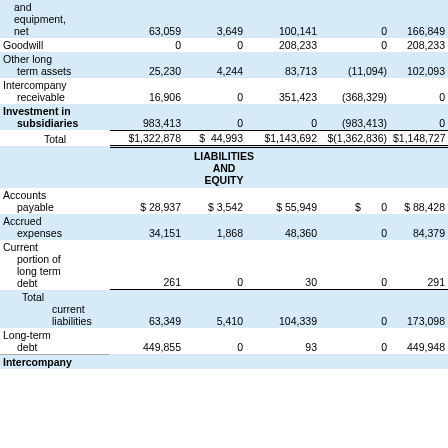|  | Col1 | Col2 | Col3 | Col4 | Col5 |
| --- | --- | --- | --- | --- | --- |
| and equipment, net | 63,059 | 3,649 | 100,141 | 0 | 166,849 |
| Goodwill | 0 | 0 | 208,233 | 0 | 208,233 |
| Other long term assets | 25,230 | 4,244 | 83,713 | (11,094) | 102,093 |
| Intercompany receivable | 16,906 | 0 | 351,423 | (368,329) | 0 |
| Investment in subsidiaries | 983,413 | 0 | 0 | (983,413) | 0 |
| Total | $1,322,878 | $ 44,993 | $1,143,692 | $(1,362,836) | $1,148,727 |
| LIABILITIES AND EQUITY |  |  |  |  |  |
| Accounts payable | $ 28,937 | $ 3,542 | $ 55,949 | $ 0 | $ 88,428 |
| Accrued expenses | 34,151 | 1,868 | 48,360 | 0 | 84,379 |
| Current portion of long term debt | 261 | 0 | 30 | 0 | 291 |
| Total current liabilities | 63,349 | 5,410 | 104,339 | 0 | 173,098 |
| Long-term debt | 449,855 | 0 | 93 | 0 | 449,948 |
| Intercompany |  |  |  |  |  |